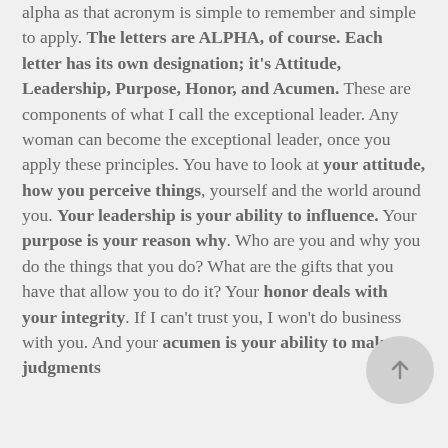alpha as that acronym is simple to remember and simple to apply. The letters are ALPHA, of course. Each letter has its own designation; it's Attitude, Leadership, Purpose, Honor, and Acumen. These are components of what I call the exceptional leader. Any woman can become the exceptional leader, once you apply these principles. You have to look at your attitude, how you perceive things, yourself and the world around you. Your leadership is your ability to influence. Your purpose is your reason why. Who are you and why you do the things that you do? What are the gifts that you have that allow you to do it? Your honor deals with your integrity. If I can't trust you, I won't do business with you. And your acumen is your ability to make judgments